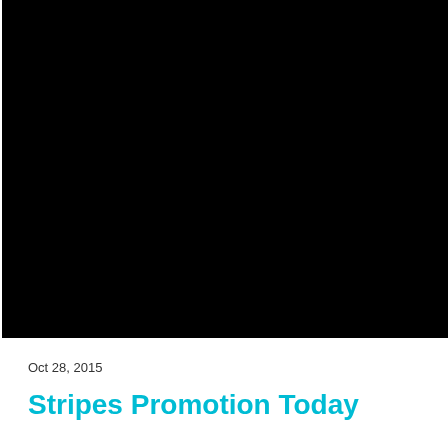[Figure (photo): Large black image area occupying the top portion of the page, with white border on left and bottom edges suggesting a presentation slide or media embed placeholder]
Oct 28, 2015
Stripes Promotion Today